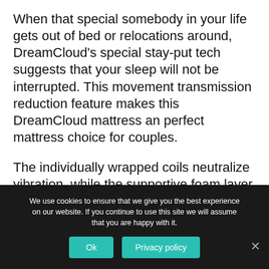When that special somebody in your life gets out of bed or relocations around, DreamCloud's special stay-put tech suggests that your sleep will not be interrupted. This movement transmission reduction feature makes this DreamCloud mattress an perfect mattress choice for couples.
The individually wrapped coils neutralize vibration, while the supportive foam layer substantially reduces motion experience throughout the mattress. Integrate this with the innovative airflow cooling technology,
We use cookies to ensure that we give you the best experience on our website. If you continue to use this site we will assume that you are happy with it.